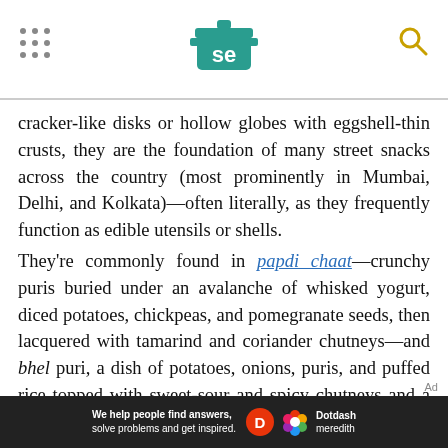Serious Eats header with logo and navigation
cracker-like disks or hollow globes with eggshell-thin crusts, they are the foundation of many street snacks across the country (most prominently in Mumbai, Delhi, and Kolkata)—often literally, as they frequently function as edible utensils or shells.
They're commonly found in papdi chaat—crunchy puris buried under an avalanche of whisked yogurt, diced potatoes, chickpeas, and pomegranate seeds, then lacquered with tamarind and coriander chutneys—and bhel puri, a dish of potatoes, onions, puris, and puffed rice topped with sweet-sour and spicy chutneys and a dusting of sev.
[Figure (logo): Dotdash Meredith advertisement banner: 'We help people find answers, solve problems and get inspired.']